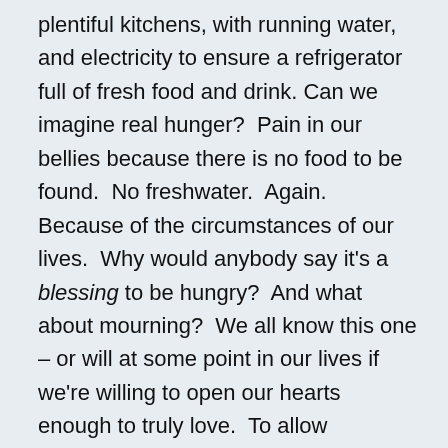plentiful kitchens, with running water, and electricity to ensure a refrigerator full of fresh food and drink. Can we imagine real hunger?  Pain in our bellies because there is no food to be found.  No freshwater.  Again.  Because of the circumstances of our lives.  Why would anybody say it's a blessing to be hungry?  And what about mourning?  We all know this one – or will at some point in our lives if we're willing to open our hearts enough to truly love.  To allow ourselves to fall deeply in love with a partner or a friend or a child or a vocation so much so that our own insides literally feel broken when they are no more.  When things fall apart.  When our loved one dies.  When it all comes to an end.  Any of us who have truly loved – which I imagine is every one of us sitting in this room – know how it feels to mourn.  In